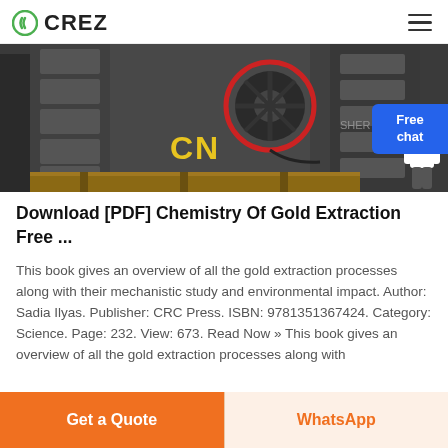CREZ
[Figure (photo): Industrial crusher machine photo with red circle highlight and yellow CN text overlay]
Download [PDF] Chemistry Of Gold Extraction Free ...
This book gives an overview of all the gold extraction processes along with their mechanistic study and environmental impact. Author: Sadia Ilyas. Publisher: CRC Press. ISBN: 9781351367424. Category: Science. Page: 232. View: 673. Read Now » This book gives an overview of all the gold extraction processes along with